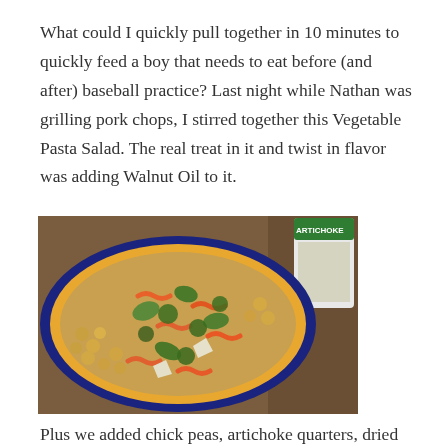What could I quickly pull together in 10 minutes to quickly feed a boy that needs to eat before (and after) baseball practice? Last night while Nathan was grilling pork chops, I stirred together this Vegetable Pasta Salad. The real treat in it and twist in flavor was adding Walnut Oil to it.
[Figure (photo): A bowl of colorful vegetable pasta salad with rotini pasta, chickpeas, artichoke pieces, and fresh herbs, with a jar of artichoke product visible in the upper right. The bowl has a dark blue rim.]
Plus we added chick peas, artichoke quarters, dried